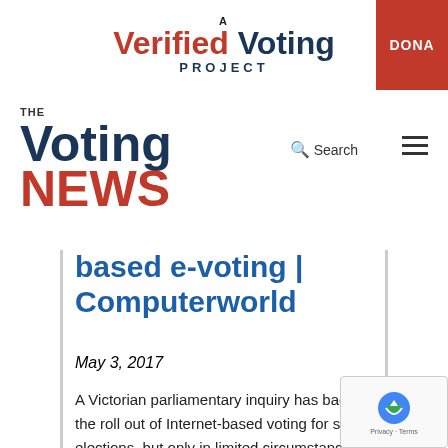[Figure (logo): A Verified Voting Project logo with red 'Verified' and dark blue 'Voting' text, and a 'DONATE' red button on the right]
[Figure (logo): The Voting News logo with dark blue 'Voting' and red 'NEWS' text, plus Search icon and hamburger menu]
based e-voting | Computerworld
May 3, 2017
A Victorian parliamentary inquiry has backed the roll out of Internet-based voting for state elections, but only in limited circumstances. A report by the state parliament's Electoral